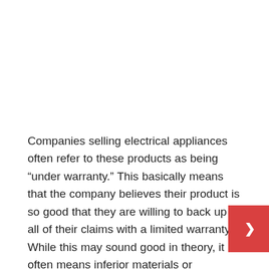Companies selling electrical appliances often refer to these products as being “under warranty.” This basically means that the company believes their product is so good that they are willing to back up all of their claims with a limited warranty. While this may sound good in theory, it often means inferior materials or workmanship in construction and little if any support offered in the first few months after purchase. Before making your